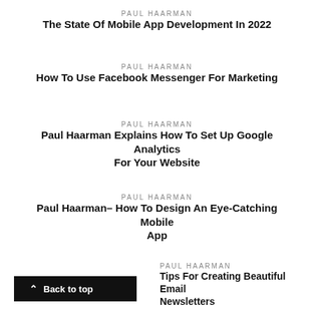PAUL HAARMAN
The State Of Mobile App Development In 2022
PAUL HAARMAN
How To Use Facebook Messenger For Marketing
PAUL HAARMAN
Paul Haarman Explains How To Set Up Google Analytics For Your Website
PAUL HAARMAN
Paul Haarman– How To Design An Eye-Catching Mobile App
PAUL HAARMAN
Tips For Creating Beautiful Email Newsletters